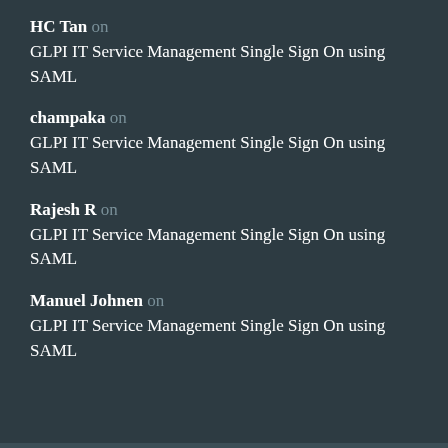HC Tan on GLPI IT Service Management Single Sign On using SAML
champaka on GLPI IT Service Management Single Sign On using SAML
Rajesh R on GLPI IT Service Management Single Sign On using SAML
Manuel Johnen on GLPI IT Service Management Single Sign On using SAML